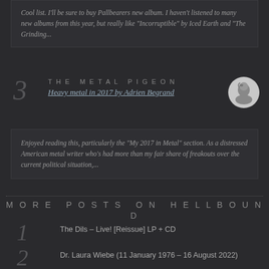Cool list. I'll be sure to buy Pallbearers new album. I haven't listened to many new albums from this year, but really like "Incorruptible" by Iced Earth and "The Grinding...
3
THE METAL PIGEON
Heavy metal in 2017 by Adrien Begrand
[Figure (photo): Circular avatar photo of a bearded man]
Enjoyed reading this, particularly the "My 2017 in Metal" section. As a distressed American metal writer who's had more than my fair share of freakouts over the current political situation,...
MORE POSTS ON HELLBOUND
1  The Dils – Live! [Reissue] LP + CD
2  Dr. Laura Wiebe (11 January 1976 – 16 August 2022)